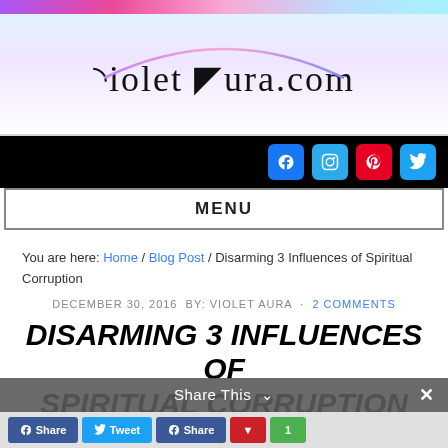[Figure (logo): VioletAura.com website logo with decorative arc in pink/purple gradient and ornate lettering]
[Figure (screenshot): Black navigation bar with Facebook, Instagram, Pinterest, and Twitter social media icons]
MENU
You are here: Home / Blog Post / Disarming 3 Influences of Spiritual Corruption
DECEMBER 30, 2016 BY: VIOLET AURA · 2 COMMENTS
DISARMING 3 INFLUENCES OF SPIRITUAL CORRUPTION
Share This